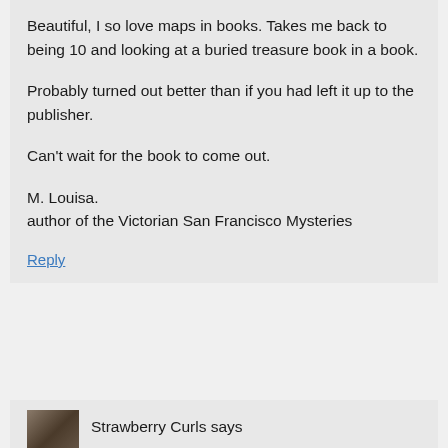Beautiful, I so love maps in books. Takes me back to being 10 and looking at a buried treasure book in a book.
Probably turned out better than if you had left it up to the publisher.
Can't wait for the book to come out.
M. Louisa.
author of the Victorian San Francisco Mysteries
Reply
Strawberry Curls says